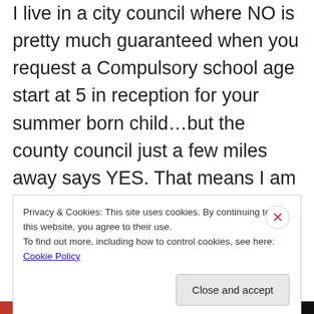I live in a city council where NO is pretty much guaranteed when you request a Compulsory school age start at 5 in reception for your summer born child…but the county council just a few miles away says YES. That means I am looking to move away from the city just so I can have my son start at 5 in reception…if all the hassle of bureaucratic and administrative issues could end, and the whole country could agree on granting the right for parents to exercise their actual prime role of educators and decide when
Privacy & Cookies: This site uses cookies. By continuing to use this website, you agree to their use.
To find out more, including how to control cookies, see here: Cookie Policy